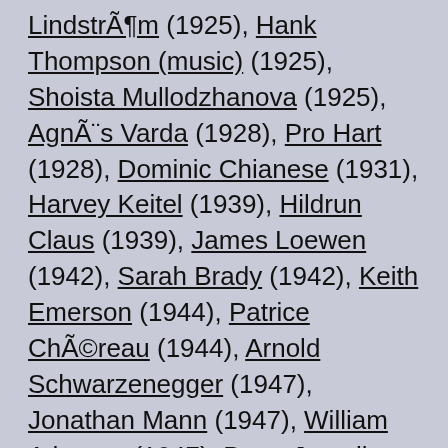LindstrÃ¶m (1925), Hank Thompson (music) (1925), Shoista Mullodzhanova (1925), AgnÃ¨s Varda (1928), Pro Hart (1928), Dominic Chianese (1931), Harvey Keitel (1939), Hildrun Claus (1939), James Loewen (1942), Sarah Brady (1942), Keith Emerson (1944), Patrice ChÃ©reau (1944), Arnold Schwarzenegger (1947), Jonathan Mann (1947), William Atherton (1947), Peter Jurasik (1950), Steve Ferrone (1950), Desi Arnaz, Jr. (1953), Linda Hayden (1953), Richard Legendre (1953), Tonya Lee Williams (1958), Pascal Olmeta (1961), Thurl Bailey (1961), Pernell Whitaker (1964), Ginger Fish (1966), Maria Garcia...